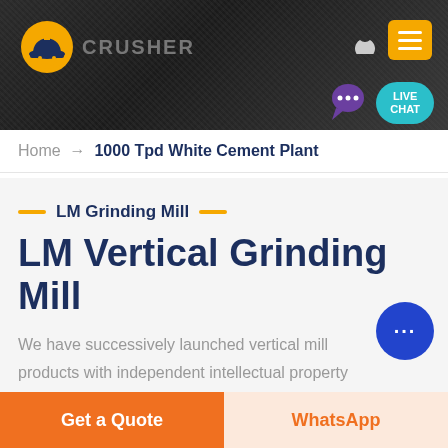[Figure (screenshot): Website header banner with dark rocky background, company logo (yellow hard hat icon), 'CRUSHER' text, moon/dark mode icon, yellow hamburger menu button, and teal Live Chat bubble in the top right]
Home → 1000 Tpd White Cement Plant
LM Grinding Mill
LM Vertical Grinding Mill
We have successively launched vertical mill products with independent intellectual property rights. Product Features: Integration of multiple functions, more stable and reliable production and more excellent capacity